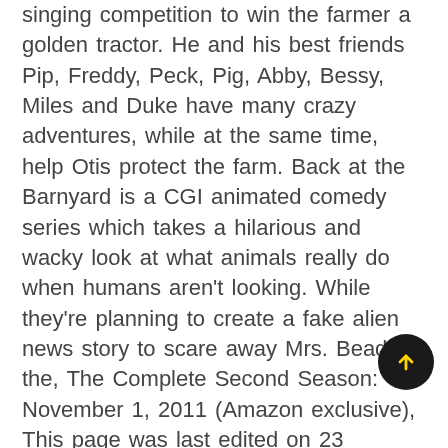singing competition to win the farmer a golden tractor. He and his best friends Pip, Freddy, Peck, Pig, Abby, Bessy, Miles and Duke have many crazy adventures, while at the same time, help Otis protect the farm. Back at the Barnyard is a CGI animated comedy series which takes a hilarious and wacky look at what animals really do when humans aren't looking. While they're planning to create a fake alien news story to scare away Mrs. Beady in the, The Complete Second Season: November 1, 2011 (Amazon exclusive), This page was last edited on 23 October 2020, at 19:00. They relent, but things truly go awry when the dinosaur quickly grows a thousand times its size and falls in love with Mrs. Beady. The remaining episodes aired from September 12 to November 12, 2011 on Nicktoons. It received generally negative reviews from critics, receiving a 43.86% from GameRankings. They turn out to be a huge hit and replace Hi... but Otis doesn't want them to replace him so they try to convince Hilly to get back to his job
[Figure (other): A circular scroll-to-top button with a dark background and an upward-pointing arrow icon, positioned in the lower right of the screen.]